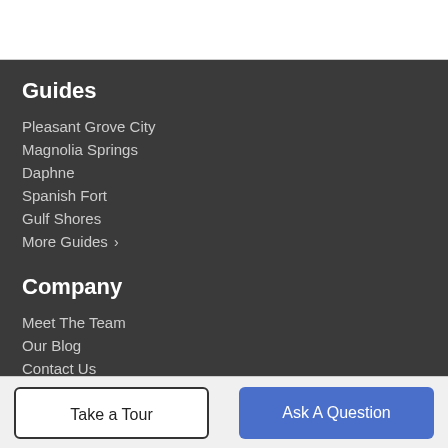Guides
Pleasant Grove City
Magnolia Springs
Daphne
Spanish Fort
Gulf Shores
More Guides >
Company
Meet The Team
Our Blog
Contact Us
Take a Tour
Ask A Question